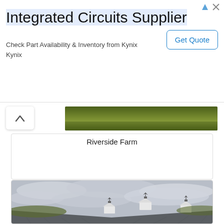Integrated Circuits Supplier
Check Part Availability & Inventory from Kynix
Kynix
Get Quote
Riverside Farm
[Figure (photo): Photograph of a barn with three cupolas topped with weather vanes on a metal roof, under an overcast cloudy sky]